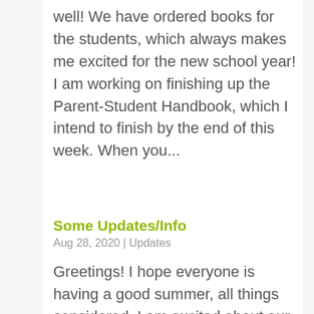well! We have ordered books for the students, which always makes me excited for the new school year!  I am working on finishing up the Parent-Student Handbook, which I intend to finish by the end of this week.  When you...
Some Updates/Info
Aug 28, 2020 | Updates
Greetings!  I hope everyone is having a good summer, all things considered.  I am excited about our upcoming school year and the stellar group of students we are starting with this year!  They will certainly "encourage one another to good works" of...